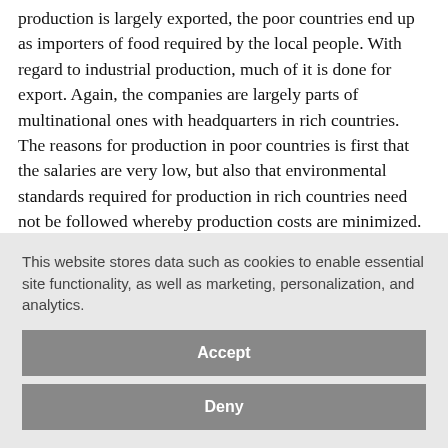production is largely exported, the poor countries end up as importers of food required by the local people. With regard to industrial production, much of it is done for export. Again, the companies are largely parts of multinational ones with headquarters in rich countries. The reasons for production in poor countries is first that the salaries are very low, but also that environmental standards required for production in rich countries need not be followed whereby production costs are minimized. This type of cutting cost is the greedy economic globalism, which the true sustainable globalism should do its utmost to fight against. The solution to decreasing wealth inequality is actually quite simple. All the products from poor areas are priced as if they were produced in rich countries, and
This website stores data such as cookies to enable essential site functionality, as well as marketing, personalization, and analytics.
Accept
Deny